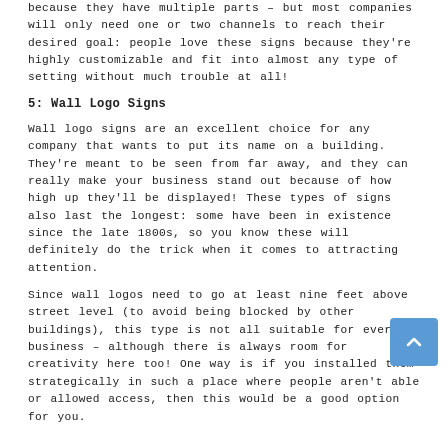because they have multiple parts – but most companies will only need one or two channels to reach their desired goal: people love these signs because they're highly customizable and fit into almost any type of setting without much trouble at all!
5: Wall Logo Signs
Wall logo signs are an excellent choice for any company that wants to put its name on a building. They're meant to be seen from far away, and they can really make your business stand out because of how high up they'll be displayed! These types of signs also last the longest: some have been in existence since the late 1800s, so you know these will definitely do the trick when it comes to attracting attention.
Since wall logos need to go at least nine feet above street level (to avoid being blocked by other buildings), this type is not all suitable for every business – although there is always room for creativity here too! One way is if you installed them strategically in such a place where people aren't able or allowed access, then this would be a good option for you.